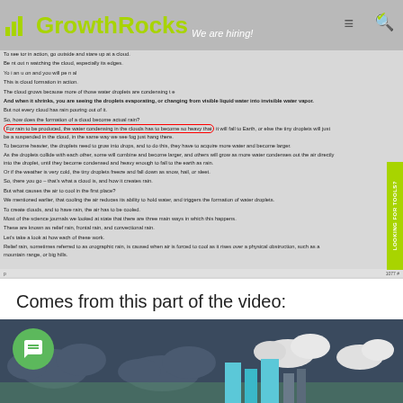[Figure (screenshot): Screenshot of a web article about cloud formation and rain, overlaid with GrowthRocks navigation bar and logo. Text discusses how rain is produced from water condensing in clouds, with a red oval circling one key sentence. A green sidebar reads 'LOOKING FOR TOOLS?']
Comes from this part of the video:
[Figure (screenshot): Video thumbnail showing animated clouds and city skyline in dark blue/grey tones with a green chat bubble icon overlay.]